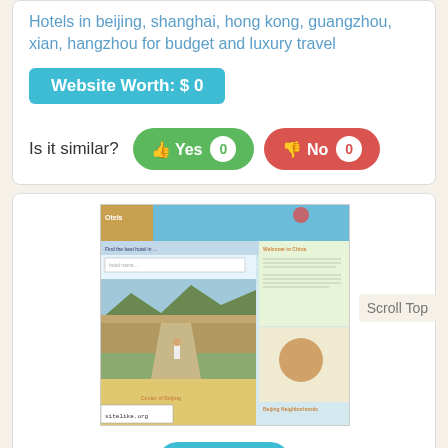Hotels in beijing, shanghai, hong kong, guangzhou, xian, hangzhou for budget and luxury travel
Website Worth: $ 0
Is it similar? Yes 0  No 0
[Figure (screenshot): Screenshot of china-hotels.com website showing hotel search interface with Great Wall photo and 'Scroll Top' label]
Like 0